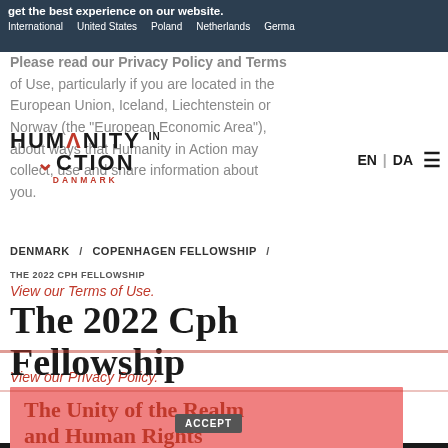get the best experience on our website. International   United States   Poland   Netherlands   Germany
Please read our Privacy Policy and Terms of Use, particularly if you are located in the European Union, Iceland, Liechtenstein or Norway (the "European Economic Area"), about ways that Humanity in Action may collect, use and share information about you.
[Figure (logo): Humanity in Action - Danmark logo with red caret in ACTION]
EN | DA
DENMARK / COPENHAGEN FELLOWSHIP /
THE 2022 CPH FELLOWSHIP
View our Terms of Use.
The 2022 Cph Fellowship
View our Privacy Policy.
The Unity of the Realm and Human Rights
ACCEPT